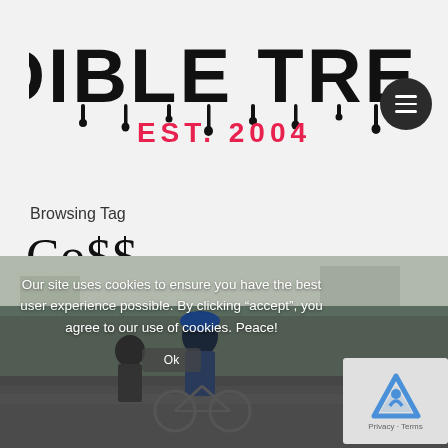[Figure (logo): Audible Treats logo with dripping graffiti-style black text 'AUDIBLE TREATS' and red subtitle 'EST. 2004']
Browsing Tag
Co$$ 7 posts
[Figure (photo): Photo of kids on bicycles with cookie consent banner overlay reading 'Our site uses cookies to ensure you have the best user experience possible. By clicking "accept", you agree to our use of cookies. Peace!' with an Ok button and reCAPTCHA widget]
Our site uses cookies to ensure you have the best user experience possible. By clicking “accept”, you agree to our use of cookies. Peace!
Privacy · Terms